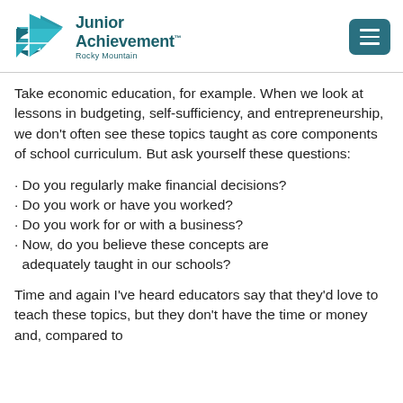Junior Achievement Rocky Mountain
Take economic education, for example. When we look at lessons in budgeting, self-sufficiency, and entrepreneurship, we don't often see these topics taught as core components of school curriculum. But ask yourself these questions:
Do you regularly make financial decisions?
Do you work or have you worked?
Do you work for or with a business?
Now, do you believe these concepts are adequately taught in our schools?
Time and again I've heard educators say that they'd love to teach these topics, but they don't have the time or money and, compared to